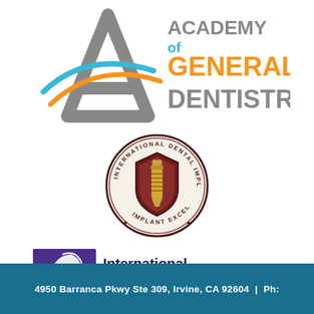[Figure (logo): Academy of General Dentistry logo with a large grey letter A with blue and orange swoosh lines, and text 'ACADEMY of GENERAL DENTISTRY' in grey, cyan, and orange]
[Figure (logo): International Dental Implant Association circular seal/badge logo with a dental implant image in the center surrounded by text reading 'INTERNATIONAL DENTAL IMPLANT ASSOCIATION' and 'IMPLANT EXCELLENCE']
[Figure (logo): International Academy of Facial Aesthetics logo with a purple silhouette of a woman's face/profile on the left and bold text 'International Academy of Facial Aesthetics' in dark navy/purple]
4950 Barranca Pkwy Ste 309, Irvine, CA 92604  |  Ph: